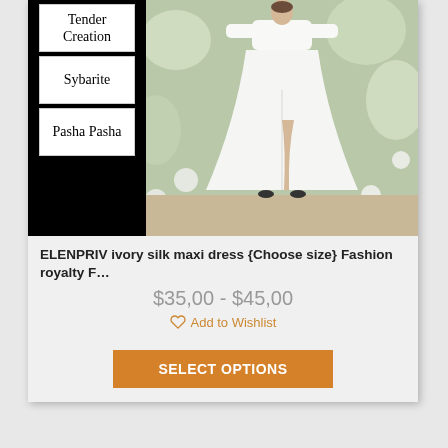[Figure (screenshot): Product card showing a white ivory silk maxi dress on a doll figure, with brand labels on the left side (Tender Creation, Sybarite, Pasha Pasha) against a black background, and a photo of the dress on the right side with floral background.]
ELENPRIV ivory silk maxi dress {Choose size} Fashion royalty F…
$35,00 - $45,00
Add to Wishlist
SELECT OPTIONS